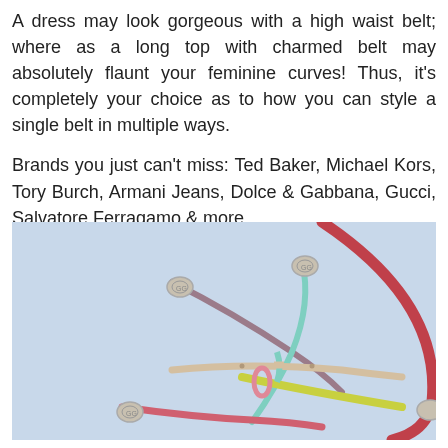A dress may look gorgeous with a high waist belt; where as a long top with charmed belt may absolutely flaunt your feminine curves! Thus, it's completely your choice as to how you can style a single belt in multiple ways.
Brands you just can't miss: Ted Baker, Michael Kors, Tory Burch, Armani Jeans, Dolce & Gabbana, Gucci, Salvatore Ferragamo & more.
[Figure (photo): Photo of multiple colorful thin Gucci belts with silver GG buckles arranged in a loose pile on a light blue background. Belts are in colors: brown/mauve, teal/mint, beige/nude, yellow-green, pink/red, with a large red belt looping around.]